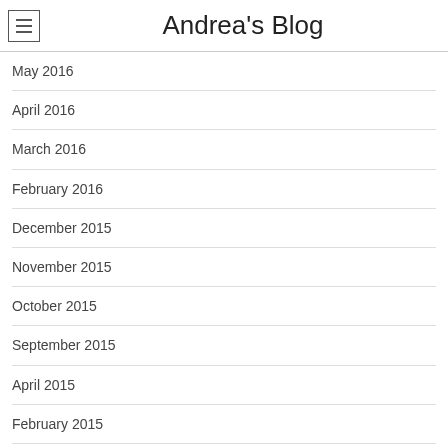Andrea's Blog
May 2016
April 2016
March 2016
February 2016
December 2015
November 2015
October 2015
September 2015
April 2015
February 2015